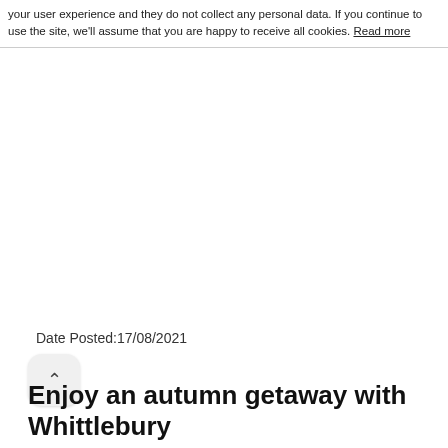your user experience and they do not collect any personal data. If you continue to use the site, we'll assume that you are happy to receive all cookies. Read more
Date Posted:17/08/2021
Enjoy an autumn getaway with Whittlebury